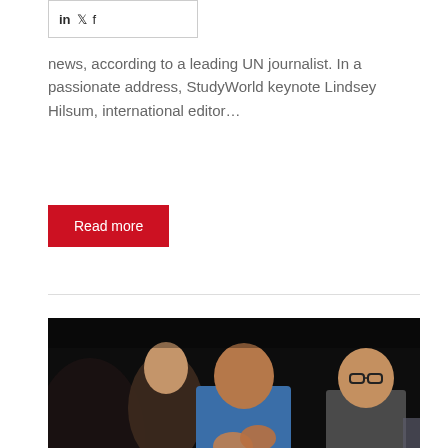[Figure (other): Social media share bar showing LinkedIn, Twitter, and Facebook icons]
news, according to a leading UN journalist. In a passionate address, StudyWorld keynote Lindsey Hilsum, international editor…
Read more
[Figure (photo): Audience members applauding at an event; a man in a blue jacket clapping is central, flanked by a woman and a young man with glasses]
StudyWorld's flexible format helps build new partnerships between agents and educators